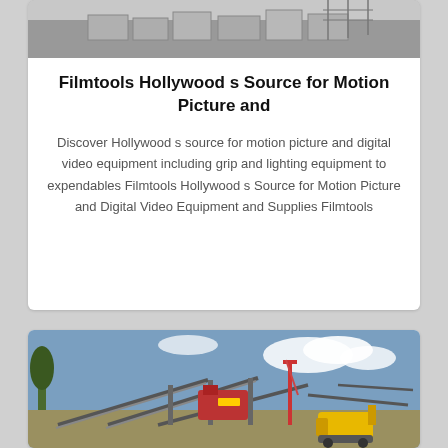[Figure (photo): Construction site with concrete blocks and scaffolding/steel structures, grey tones]
Filmtools Hollywood s Source for Motion Picture and
Discover Hollywood s source for motion picture and digital video equipment including grip and lighting equipment to expendables Filmtools Hollywood s Source for Motion Picture and Digital Video Equipment and Supplies Filmtools
[Figure (photo): Industrial quarry or construction equipment site with conveyor belts, cranes, and a yellow bulldozer under a partly cloudy blue sky]